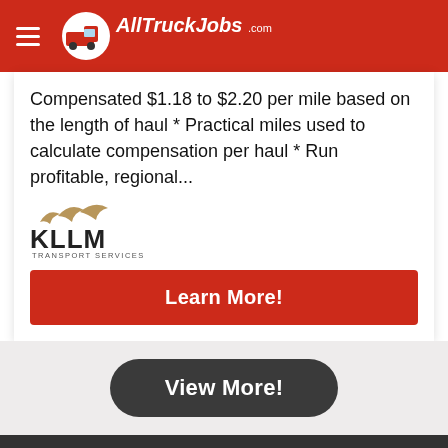AllTruckJobs.com
Compensated $1.18 to $2.20 per mile based on the length of haul * Practical miles used to calculate compensation per haul * Run profitable, regional...
[Figure (logo): KLLM Transport Services logo with stylized flying birds above text]
Learn More!
View More!
FOR DRIVERS
Trucking Jobs